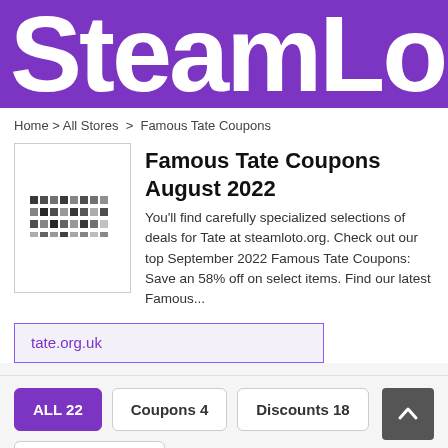SteamLo
Home > All Stores > Famous Tate Coupons
Famous Tate Coupons August 2022
[Figure (logo): Famous Tate store logo — pixelated/halftone text logo]
You'll find carefully specialized selections of deals for Tate at steamloto.org. Check out our top September 2022 Famous Tate Coupons: Save an 58% off on select items. Find our latest Famous...
tate.org.uk
ALL 22
Coupons 4
Discounts 18
Free Shipping 2